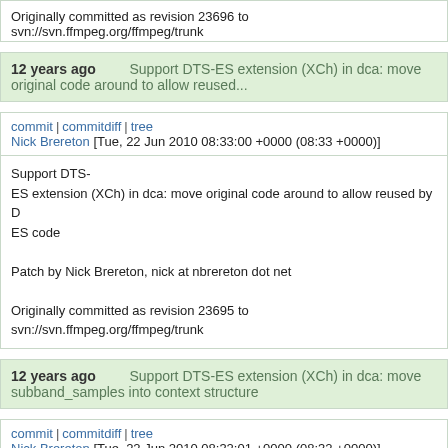Originally committed as revision 23696 to svn://svn.ffmpeg.org/ffmpeg/trunk
12 years ago   Support DTS-ES extension (XCh) in dca: move original code around to allow reused...
commit | commitdiff | tree
Nick Brereton [Tue, 22 Jun 2010 08:33:00 +0000 (08:33 +0000)]
Support DTS-ES extension (XCh) in dca: move original code around to allow reused by DTS-ES code

Patch by Nick Brereton, nick at nbrereton dot net

Originally committed as revision 23695 to svn://svn.ffmpeg.org/ffmpeg/trunk
12 years ago   Support DTS-ES extension (XCh) in dca: move subband_samples into context structure
commit | commitdiff | tree
Nick Brereton [Tue, 22 Jun 2010 08:32:01 +0000 (08:32 +0000)]